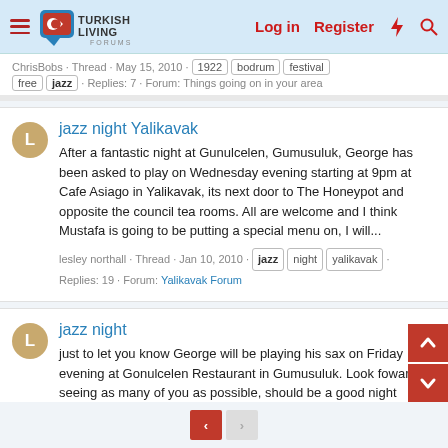TurkishLiving Forums — Log in | Register
ChrisBobs · Thread · May 15, 2010 · 1922 · bodrum · festival · free · jazz · Replies: 7 · Forum: Things going on in your area
jazz night Yalikavak
After a fantastic night at Gunulcelen, Gumusuluk, George has been asked to play on Wednesday evening starting at 9pm at Cafe Asiago in Yalikavak, its next door to The Honeypot and opposite the council tea rooms. All are welcome and I think Mustafa is going to be putting a special menu on, I will...
lesley northall · Thread · Jan 10, 2010 · jazz · night · yalikavak · Replies: 19 · Forum: Yalikavak Forum
jazz night
just to let you know George will be playing his sax on Friday evening at Gonulcelen Restaurant in Gumusuluk. Look foward to seeing as many of you as possible, should be a good night
lesley northall · Thread · Jan 5, 2010 · jazz · night · Replies: 11 · Forum: Gumusluk Forum